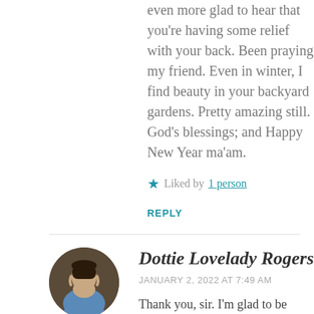even more glad to hear that you're having some relief with your back. Been praying my friend. Even in winter, I find beauty in your backyard gardens. Pretty amazing still. God's blessings; and Happy New Year ma'am.
Liked by 1 person
REPLY
Dottie Lovelady Rogers
JANUARY 2, 2022 AT 7:49 AM
Thank you, sir. I'm glad to be back. I've been up to my eyeballs in technology changes around the house for the past